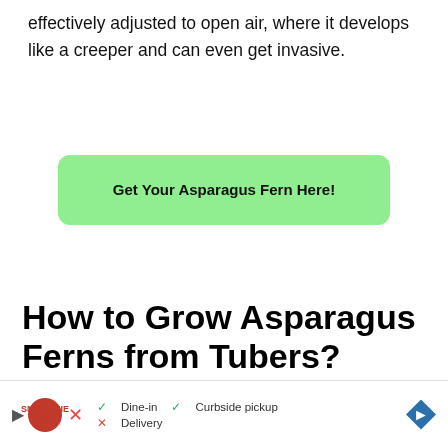effectively adjusted to open air, where it develops like a creeper and can even get invasive.
Get Your Asparagus Fern Here!
How to Grow Asparagus Ferns from Tubers?
Asparagus ferns are propagated from tuberous roots that grow just underneath the topsoil.
[Figure (photo): Close-up photo of asparagus fern plants with delicate green needle-like foliage against a dark background]
[Figure (infographic): Advertisement bar for Smoothie King showing dine-in, curbside pickup options with checkmarks and delivery with X mark, plus navigation arrow]